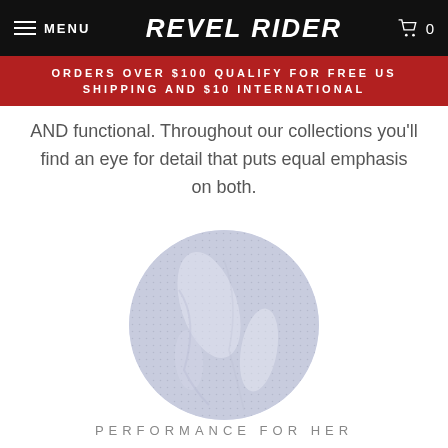MENU  REVEL RIDER  0
ORDERS OVER $100 QUALIFY FOR FREE US SHIPPING AND $10 INTERNATIONAL
AND functional. Throughout our collections you'll find an eye for detail that puts equal emphasis on both.
[Figure (photo): Close-up circular crop of light blue/lavender perforated fabric with visible texture and folds]
PERFORMANCE FOR HER